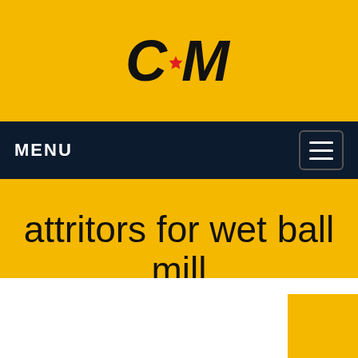[Figure (logo): CCM logo with star replacing the letter C dot, bold italic black text on yellow background]
MENU
attritors for wet ball mill
Home / Products